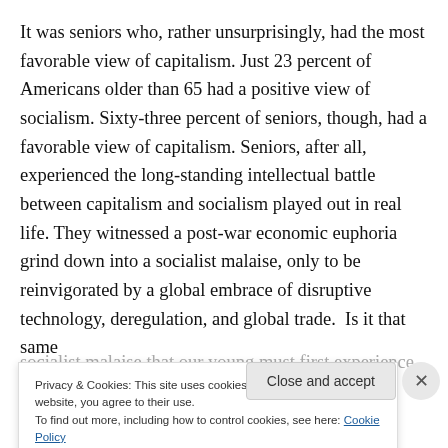It was seniors who, rather unsurprisingly, had the most favorable view of capitalism. Just 23 percent of Americans older than 65 had a positive view of socialism. Sixty-three percent of seniors, though, had a favorable view of capitalism. Seniors, after all, experienced the long-standing intellectual battle between capitalism and socialism played out in real life. They witnessed a post-war economic euphoria grind down into a socialist malaise, only to be reinvigorated by a global embrace of disruptive technology, deregulation, and global trade.  Is it that same socialist malaise that our young must first experience
Privacy & Cookies: This site uses cookies. By continuing to use this website, you agree to their use.
To find out more, including how to control cookies, see here: Cookie Policy
Close and accept